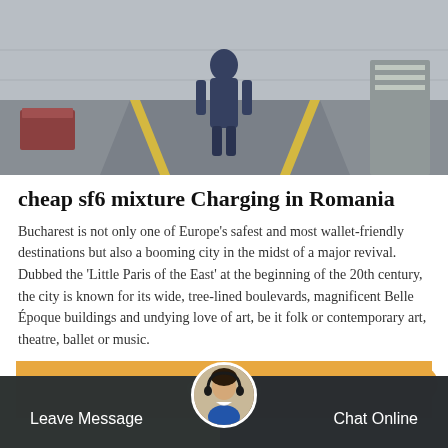[Figure (photo): Photo of a person in blue workwear walking in an industrial or transit corridor with yellow-edged ramps or flooring]
cheap sf6 mixture Charging in Romania
Bucharest is not only one of Europe's safest and most wallet-friendly destinations but also a booming city in the midst of a major revival. Dubbed the 'Little Paris of the East' at the beginning of the 20th century, the city is known for its wide, tree-lined boulevards, magnificent Belle Époque buildings and undying love of art, be it folk or contemporary art, theatre, ballet or music.
[Figure (other): Orange 'Get Price' button]
[Figure (other): Bottom navigation bar with 'Leave Message', customer support avatar, and 'Chat Online' options]